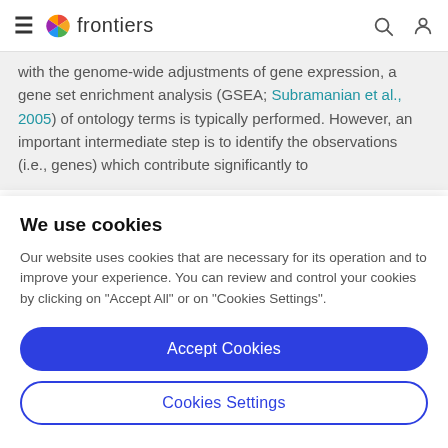frontiers
with the genome-wide adjustments of gene expression, a gene set enrichment analysis (GSEA; Subramanian et al., 2005) of ontology terms is typically performed. However, an important intermediate step is to identify the observations (i.e., genes) which contribute significantly to
We use cookies
Our website uses cookies that are necessary for its operation and to improve your experience. You can review and control your cookies by clicking on "Accept All" or on "Cookies Settings".
Accept Cookies
Cookies Settings